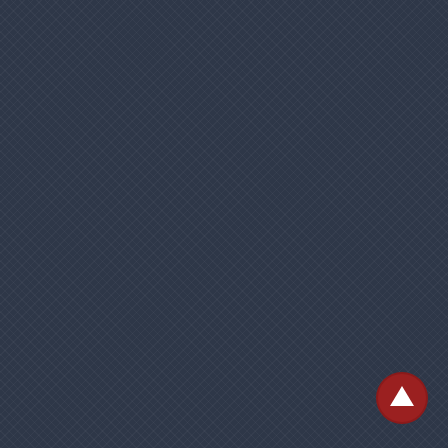[Figure (screenshot): Dark navy textured sidebar panel on the left side of the screen]
florence, sketch
I'm ramping down, cle... sculpture "Abacuc," in...
Next post will be mad...
Permalink
[Figure (photo): Dark green textured surface, partially visible at bottom right with a red scroll-up button overlay]